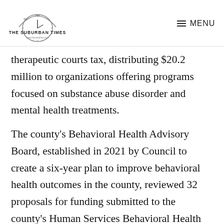THE SUBURBAN TIMES — MENU
therapeutic courts tax, distributing $20.2 million to organizations offering programs focused on substance abuse disorder and mental health treatments.
The county's Behavioral Health Advisory Board, established in 2021 by Council to create a six-year plan to improve behavioral health outcomes in the county, reviewed 32 proposals for funding submitted to the county's Human Services Behavioral Health division.